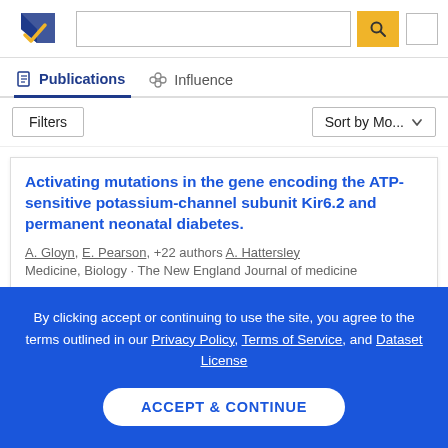[Figure (logo): Semantic Scholar logo — stylized book/paper icon in navy and gold with a checkmark]
Publications  Influence
Filters   Sort by Mo...
Activating mutations in the gene encoding the ATP-sensitive potassium-channel subunit Kir6.2 and permanent neonatal diabetes.
A. Gloyn, E. Pearson, +22 authors A. Hattersley
Medicine, Biology · The New England Journal of medicine
By clicking accept or continuing to use the site, you agree to the terms outlined in our Privacy Policy, Terms of Service, and Dataset License
ACCEPT & CONTINUE